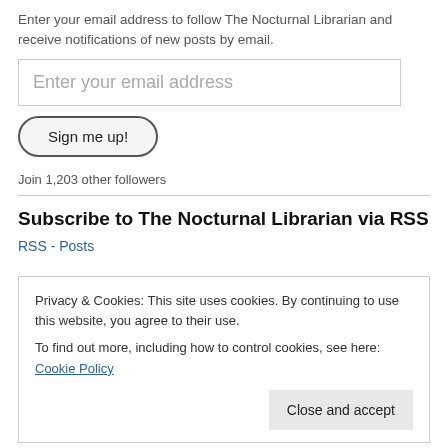Enter your email address to follow The Nocturnal Librarian and receive notifications of new posts by email.
Enter your email address
Sign me up!
Join 1,203 other followers
Subscribe to The Nocturnal Librarian via RSS
RSS - Posts
Privacy & Cookies: This site uses cookies. By continuing to use this website, you agree to their use. To find out more, including how to control cookies, see here: Cookie Policy
Close and accept